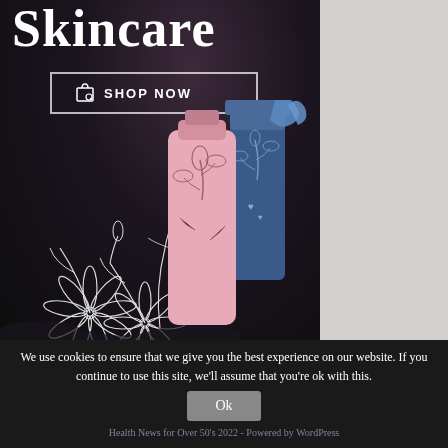[Figure (illustration): Skincare product advertisement image with dark floral background, white botanical line-art flowers, and illustrated skincare product bottles (pink and blue/navy), with a 'SHOP NOW' button overlay and large 'Skincare' text at top]
We use cookies to ensure that we give you the best experience on our website. If you continue to use this site, we'll assume that you're ok with this.
Ok
Health News for Over 50's 2022 - Powered by WordPress